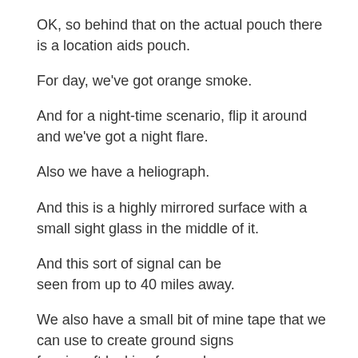OK, so behind that on the actual pouch there is a location aids pouch.
For day, we've got orange smoke.
And for a night-time scenario, flip it around and we've got a night flare.
Also we have a heliograph.
And this is a highly mirrored surface with a small sight glass in the middle of it.
And this sort of signal can be seen from up to 40 miles away.
We also have a small bit of mine tape that we can use to create ground signs for aircraft looking for us above.
Inside this pouch, the first thing, a basic medical kit.